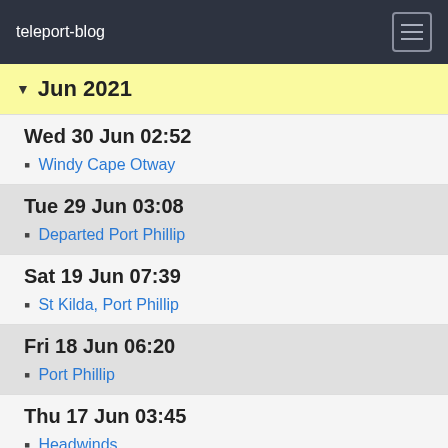teleport-blog
Jun 2021
Wed 30 Jun 02:52
Windy Cape Otway
Tue 29 Jun 03:08
Departed Port Phillip
Sat 19 Jun 07:39
St Kilda, Port Phillip
Fri 18 Jun 06:20
Port Phillip
Thu 17 Jun 03:45
Headwinds
Wed 16 Jun 03:09
Bass Strait Oil Field
Mon 14 Jun 04:48
Departed Twofold Bay